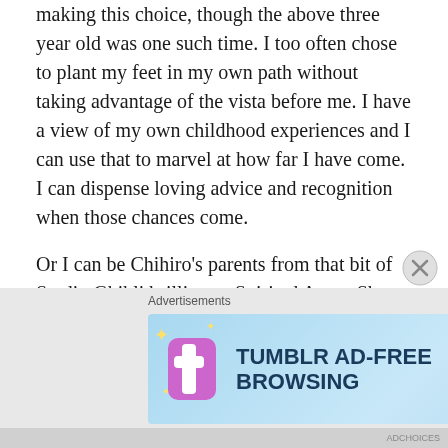making this choice, though the above three year old was one such time. I too often chose to plant my feet in my own path without taking advantage of the vista before me. I have a view of my own childhood experiences and I can use that to marvel at how far I have come. I can dispense loving advice and recognition when those chances come.
Or I can be Chihiro's parents from that bit of Studio Ghibli brilliance, Spirited Away. She blossoms in the days of adversity she experiences, and they don't even notice. Their blindness not only gets them into trouble, but it keeps them from seeing the growth in their own daughter. As a kid watching such a movie I'm not sure I even noticed how dumb and self absorbed they were; to me they were
[Figure (other): Tumblr Ad-Free Browsing advertisement banner: $39.99 a year or $4.99 a month, with Tumblr logo and sparkle decorations on a blue gradient background. Labeled 'Advertisements' above.]